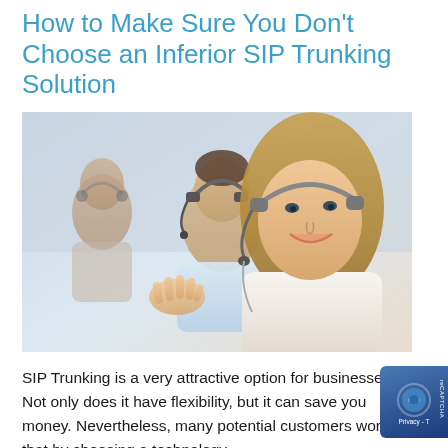How to Make Sure You Don't Choose an Inferior SIP Trunking Solution
[Figure (photo): Photo of call center agents wearing headsets, smiling woman in foreground, man and another woman in background]
SIP Trunking is a very attractive option for businesses. Not only does it have flexibility, but it can save you money. Nevertheless, many potential customers worry that by choosing a technology